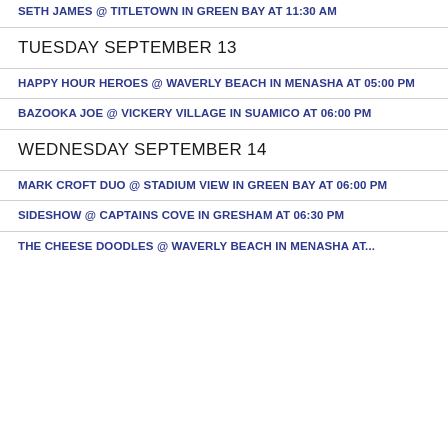SETH JAMES @ TITLETOWN IN GREEN BAY AT 11:30 AM
TUESDAY SEPTEMBER 13
HAPPY HOUR HEROES @ WAVERLY BEACH IN MENASHA AT 05:00 PM
BAZOOKA JOE @ VICKERY VILLAGE IN SUAMICO AT 06:00 PM
WEDNESDAY SEPTEMBER 14
MARK CROFT DUO @ STADIUM VIEW IN GREEN BAY AT 06:00 PM
SIDESHOW @ CAPTAINS COVE IN GRESHAM AT 06:30 PM
THE CHEESE DOODLES @ WAVERLY BEACH IN MENASHA AT ...